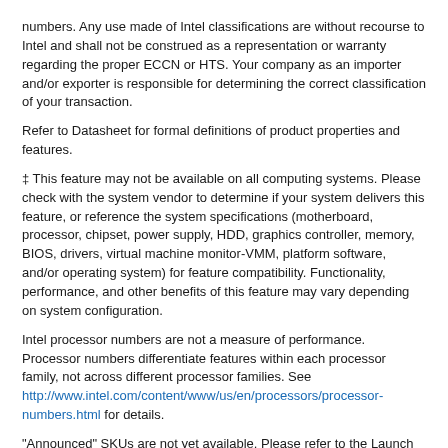numbers. Any use made of Intel classifications are without recourse to Intel and shall not be construed as a representation or warranty regarding the proper ECCN or HTS. Your company as an importer and/or exporter is responsible for determining the correct classification of your transaction.
Refer to Datasheet for formal definitions of product properties and features.
‡ This feature may not be available on all computing systems. Please check with the system vendor to determine if your system delivers this feature, or reference the system specifications (motherboard, processor, chipset, power supply, HDD, graphics controller, memory, BIOS, drivers, virtual machine monitor-VMM, platform software, and/or operating system) for feature compatibility. Functionality, performance, and other benefits of this feature may vary depending on system configuration.
Intel processor numbers are not a measure of performance. Processor numbers differentiate features within each processor family, not across different processor families. See http://www.intel.com/content/www/us/en/processors/processor-numbers.html for details.
"Announced" SKUs are not yet available. Please refer to the Launch Date for market availability.
System and Maximum TDP is based on worst case scenarios. Actual TDP may be lower if not all I/Os for chipsets are used.
Intel® Iris® Xe Graphics only: to use the Intel® Iris® Xe brand, the system must be populated with 128-bit (dual channel) memory. Otherwise, use the Intel® UHD brand.
Max Turbo Frequency refers to the maximum single-core processor frequency